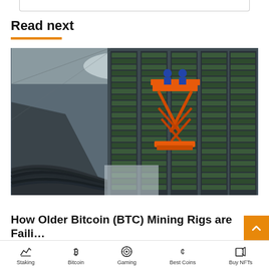Read next
[Figure (photo): Bitcoin mining facility with rows of mining rigs stacked on shelves, an orange scissor lift with workers on it, and thick cable bundles on the floor in a warehouse setting]
How Older Bitcoin (BTC) Mining Rigs are Faili…
Staking  Bitcoin  Gaming  Best Coins  Buy NFTs